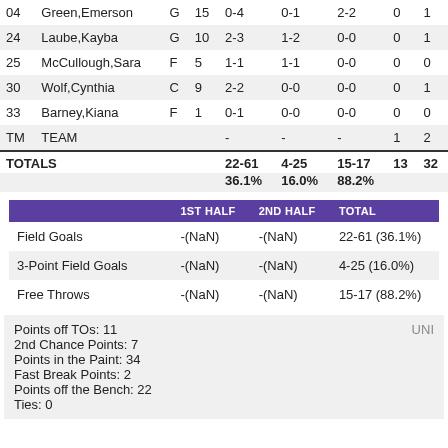| # | Name | Pos | Min | FG | 3PT | FT | PF | TP |
| --- | --- | --- | --- | --- | --- | --- | --- | --- |
| 04 | Green,Emerson | G | 15 | 0-4 | 0-1 | 2-2 | 0 | 1 |
| 24 | Laube,Kayba | G | 10 | 2-3 | 1-2 | 0-0 | 0 | 1 |
| 25 | McCullough,Sara | F | 5 | 1-1 | 1-1 | 0-0 | 0 | 0 |
| 30 | Wolf,Cynthia | C | 9 | 2-2 | 0-0 | 0-0 | 0 | 1 |
| 33 | Barney,Kiana | F | 1 | 0-1 | 0-0 | 0-0 | 0 | 0 |
| TM | TEAM |  |  | - | - | - | 1 | 2 |
| TOTALS |  |  |  | 22-61 | 4-25 | 15-17 | 13 | 32 |
|  |  |  |  | 36.1% | 16.0% | 88.2% |  |  |
|  | 1ST HALF | 2ND HALF | TOTAL |
| --- | --- | --- | --- |
| Field Goals | -(NaN) | -(NaN) | 22-61 (36.1%) |
| 3-Point Field Goals | -(NaN) | -(NaN) | 4-25 (16.0%) |
| Free Throws | -(NaN) | -(NaN) | 15-17 (88.2%) |
Points off TOs: 11
2nd Chance Points: 7
Points in the Paint: 34
Fast Break Points: 2
Points off the Bench: 22
Ties: 0